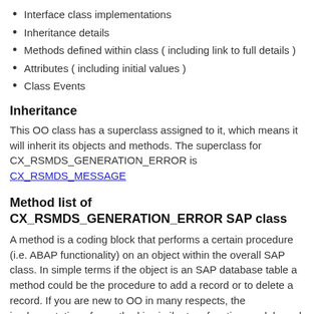Interface class implementations
Inheritance details
Methods defined within class ( including link to full details )
Attributes ( including initial values )
Class Events
Inheritance
This OO class has a superclass assigned to it, which means it will inherit its objects and methods. The superclass for CX_RSMDS_GENERATION_ERROR is CX_RSMDS_MESSAGE
Method list of CX_RSMDS_GENERATION_ERROR SAP class
A method is a coding block that performs a certain procedure (i.e. ABAP functionality) on an object within the overall SAP class. In simple terms if the object is an SAP database table a method could be the procedure to add a record or to delete a record. If you are new to OO in many respects, the implementation of a method is similar to a function module and can be called in a very similar way using CALL METHOD. Instead